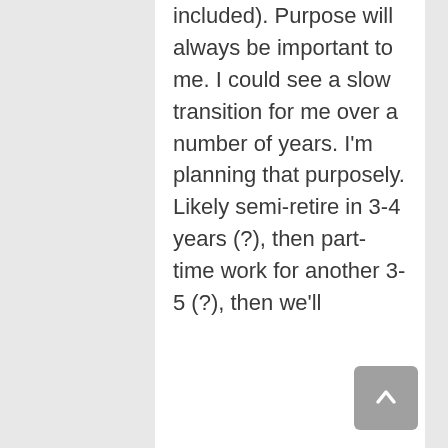included). Purpose will always be important to me. I could see a slow transition for me over a number of years. I'm planning that purposely. Likely semi-retire in 3-4 years (?), then part-time work for another 3-5 (?), then we'll